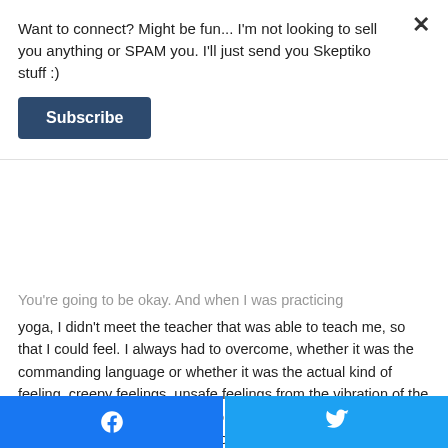Want to connect? Might be fun... I'm not looking to sell you anything or SPAM you. I'll just send you Skeptiko stuff :)
Subscribe
You're going to be okay. And when I was practicing yoga, I didn't meet the teacher that was able to teach me, so that I could feel. I always had to overcome, whether it was the commanding language or whether it was the actual kind of feeling, creepy feelings, unsafe feelings from the vibration of the teachers. There was so much to overcome in the way that yoga is generally practiced, in order to have it work for me as a tool, because I knew, the first time I stepped on the mat, “Oh, this is it. This is what I need.”
At the same time I started practicing meditation with